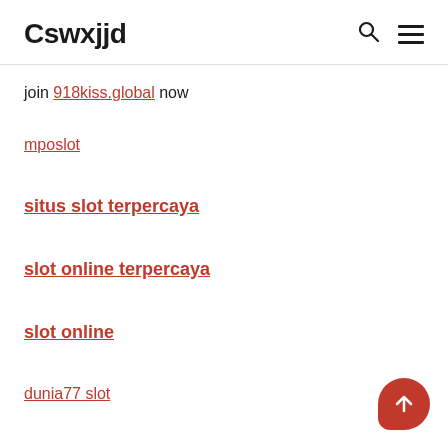Cswxjjd
join 918kiss.global now
mposlot
situs slot terpercaya
slot online terpercaya
slot online
dunia77 slot